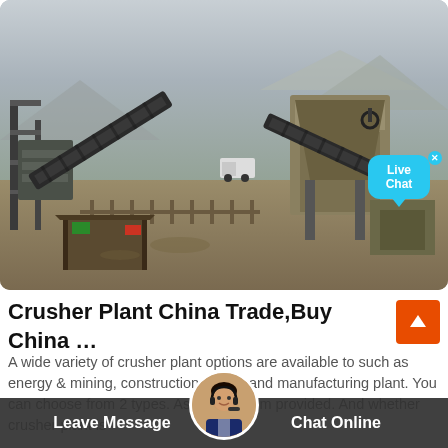[Figure (photo): Outdoor crusher plant / mining equipment facility showing conveyor belts, crushers, and industrial machinery on a dusty site with mountains in background. A 'Live Chat' speech bubble with 'x' close button appears in the upper-right of the image.]
Crusher Plant China Trade,Buy China …
A wide variety of crusher plant options are available to such as energy & mining, construction works, and manufacturing plant. You can choose from 2 types. As well as from provided. And whether crusher plant is
Leave Message   Chat Online